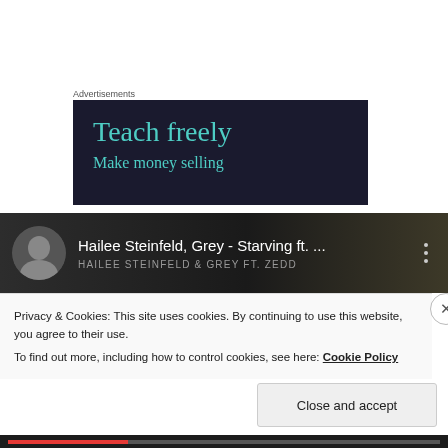Advertisements
[Figure (illustration): Dark navy advertisement banner with teal text reading 'Teach freely' and 'Make money selling']
[Figure (screenshot): YouTube mini-player bar showing Hailee Steinfeld avatar, title 'Hailee Steinfeld, Grey - Starving ft. ...' and subtitle 'HAILEE STEINFELD & GREY FT. ZEDD' on dark background]
Privacy & Cookies: This site uses cookies. By continuing to use this website, you agree to their use.
To find out more, including how to control cookies, see here: Cookie Policy
Close and accept